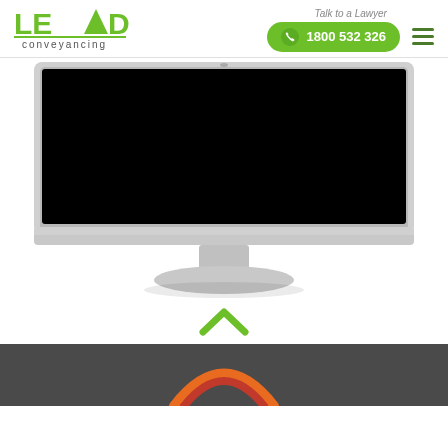[Figure (logo): LEAD conveyancing logo with green text and underline]
Talk to a Lawyer
1800 532 326
[Figure (illustration): Desktop computer monitor illustration with black screen on silver stand]
[Figure (illustration): Green upward chevron/caret icon]
[Figure (illustration): Dark grey footer bar with partial orange/red logo arc at bottom]